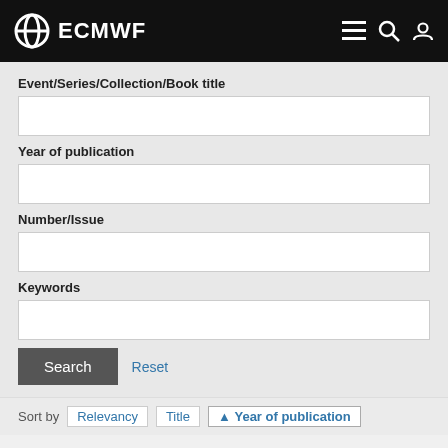[Figure (logo): ECMWF logo and navigation bar with hamburger menu, search, and account icons on black background]
Event/Series/Collection/Book title
Year of publication
Number/Issue
Keywords
Search
Reset
Sort by  Relevancy  Title  ↑ Year of publication